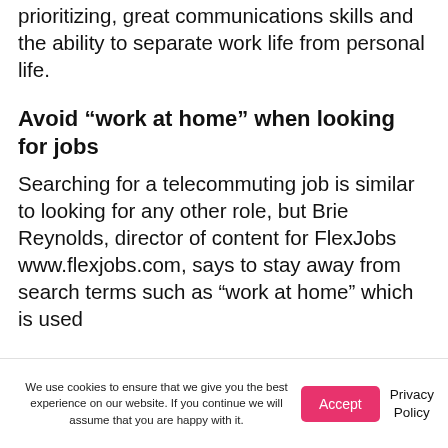prioritizing, great communications skills and the ability to separate work life from personal life.
Avoid “work at home” when looking for jobs
Searching for a telecommuting job is similar to looking for any other role, but Brie Reynolds, director of content for FlexJobs www.flexjobs.com, says to stay away from search terms such as “work at home” which is used
We use cookies to ensure that we give you the best experience on our website. If you continue we will assume that you are happy with it. Accept Privacy Policy